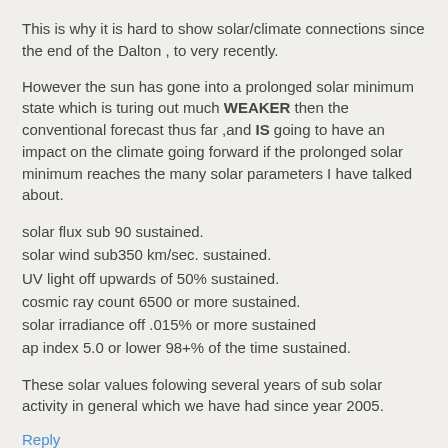This is why it is hard to show solar/climate connections since the end of the Dalton , to very recently.
However the sun has gone into a prolonged solar minimum state which is turing out much WEAKER then the conventional forecast thus far ,and IS going to have an impact on the climate going forward if the prolonged solar minimum reaches the many solar parameters I have talked about.
solar flux sub 90 sustained.
solar wind sub350 km/sec. sustained.
UV light off upwards of 50% sustained.
cosmic ray count 6500 or more sustained.
solar irradiance off .015% or more sustained
ap index 5.0 or lower 98+% of the time sustained.
These solar values folowing several years of sub solar activity in general which we have had since year 2005.
Reply